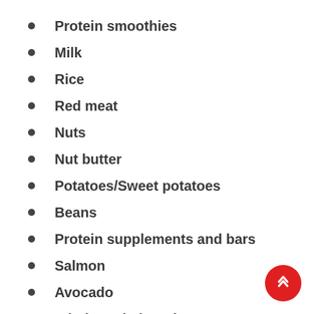Protein smoothies
Milk
Rice
Red meat
Nuts
Nut butter
Potatoes/Sweet potatoes
Beans
Protein supplements and bars
Salmon
Avocado
Whole grain bread